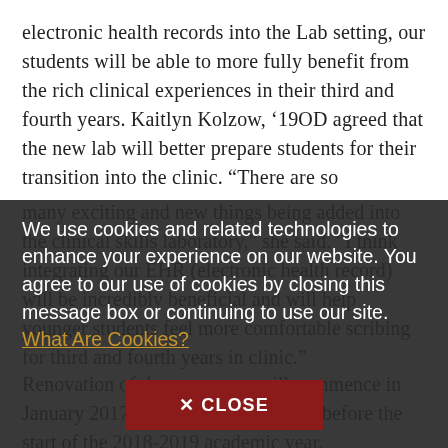electronic health records into the Lab setting, our students will be able to more fully benefit from the rich clinical experiences in their third and fourth years. Kaitlyn Kolzow, '19OD agreed that the new lab will better prepare students for their transition into the clinic. “There are so many exciting and new things being added into the clinical skills laboratory,” she said. “I think integrating our EHR (electronic health record) will be incredibly beneficial and will help younger students feel more comfortable scribing for third and fourth years in clinic.”
We use cookies and related technologies to enhance your experience on our website. You agree to our use of cookies by closing this message box or continuing to use our site. What Are Cookies?
Renovation of the new space will commence in January 2017 with a completion date before the start of the 2018-2019 academic year.